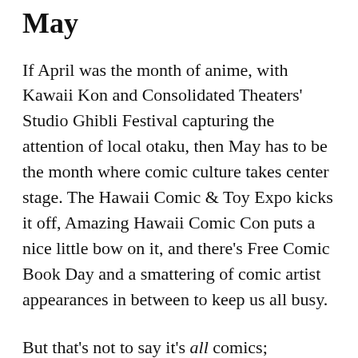May
If April was the month of anime, with Kawaii Kon and Consolidated Theaters' Studio Ghibli Festival capturing the attention of local otaku, then May has to be the month where comic culture takes center stage. The Hawaii Comic & Toy Expo kicks it off, Amazing Hawaii Comic Con puts a nice little bow on it, and there's Free Comic Book Day and a smattering of comic artist appearances in between to keep us all busy.
But that's not to say it's all comics; anime/manga fans have some events to look forward to this month as well — a new movie, idkwhat2wear's annual clearance sale and the